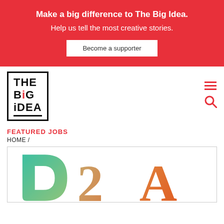Make a big difference to The Big Idea. Help us tell the most creative stories.
Become a supporter
[Figure (logo): The Big Idea logo - text in black bold font inside a square border with red dot on the i in BIG]
[Figure (infographic): Hamburger menu icon and search icon in red]
FEATURED JOBS
HOME /
[Figure (logo): D2A logo with gradient letters in teal, tan, and orange colors]